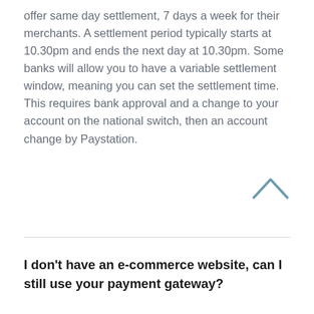offer same day settlement, 7 days a week for their merchants. A settlement period typically starts at 10.30pm and ends the next day at 10.30pm. Some banks will allow you to have a variable settlement window, meaning you can set the settlement time. This requires bank approval and a change to your account on the national switch, then an account change by Paystation.
[Figure (other): Upward-pointing chevron/caret icon in steel blue color]
I don't have an e-commerce website, can I still use your payment gateway?